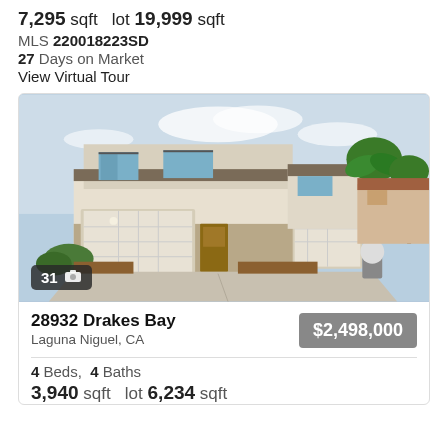7,295 sqft  lot 19,999 sqft
MLS 220018223SD
27 Days on Market
View Virtual Tour
[Figure (photo): Exterior photo of a two-story residential home with three-car garage, palm trees, and wide driveway in Laguna Niguel, CA. Badge shows 31 photos.]
28932 Drakes Bay
Laguna Niguel, CA
$2,498,000
4 Beds,  4 Baths
3,940 sqft  lot 6,234 sqft